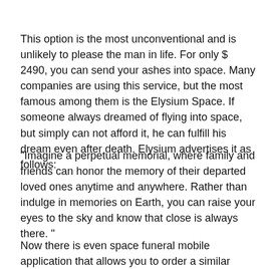This option is the most unconventional and is unlikely to please the man in life. For only $ 2490, you can send your ashes into space. Many companies are using this service, but the most famous among them is the Elysium Space. If someone always dreamed of flying into space, but simply can not afford it, he can fulfill his dream even after death. Elysium advertises it as follows:
"Imagine a perpetual memorial, where family and friends can honor the memory of their departed loved ones anytime and anywhere. Rather than indulge in memories on Earth, you can raise your eyes to the sky and know that close is always there. "
Now there is even space funeral mobile application that allows you to order a similar procedure.